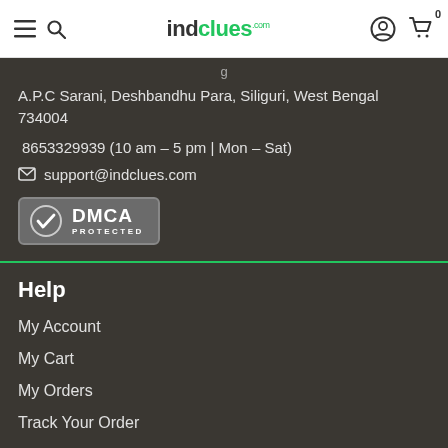indclues.com
A.P.C Sarani, Deshbandhu Para, Siliguri, West Bengal 734004
8653329939 (10 am - 5 pm | Mon - Sat)
support@indclues.com
[Figure (logo): DMCA Protected badge with checkmark icon]
Help
My Account
My Cart
My Orders
Track Your Order
FAQ